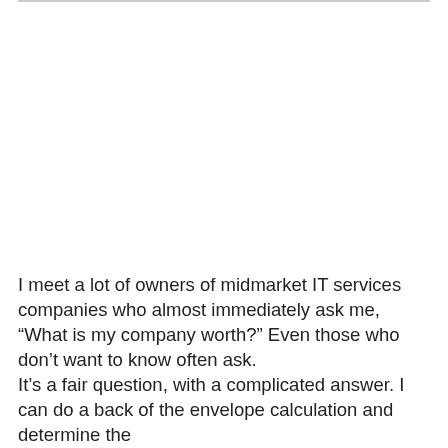I meet a lot of owners of midmarket IT services companies who almost immediately ask me, “What is my company worth?” Even those who don’t want to know often ask.
It’s a fair question, with a complicated answer. I can do a back of the envelope calculation and determine the